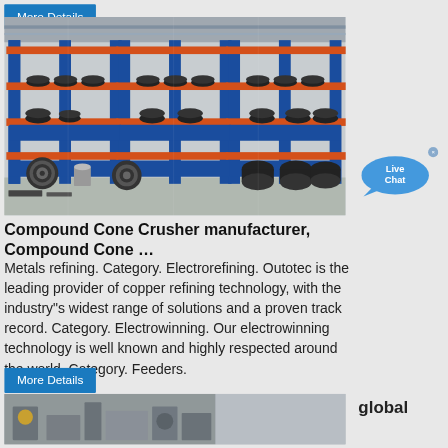More Details
[Figure (photo): Industrial warehouse shelving with orange metal racks on blue bases, stocked with black industrial parts and components on multiple levels.]
Compound Cone Crusher manufacturer, Compound Cone …
Metals refining. Category. Electrorefining. Outotec is the leading provider of copper refining technology, with the industry"s widest range of solutions and a proven track record. Category. Electrowinning. Our electrowinning technology is well known and highly respected around the world. Category. Feeders.
More Details
[Figure (photo): Industrial machinery bottom strip image with global text overlay on the right side.]
global